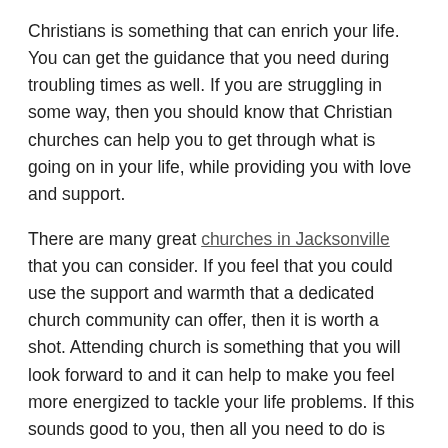Christians is something that can enrich your life. You can get the guidance that you need during troubling times as well. If you are struggling in some way, then you should know that Christian churches can help you to get through what is going on in your life, while providing you with love and support.
There are many great churches in Jacksonville that you can consider. If you feel that you could use the support and warmth that a dedicated church community can offer, then it is worth a shot. Attending church is something that you will look forward to and it can help to make you feel more energized to tackle your life problems. If this sounds good to you, then all you need to do is reach out.
Church Is Always There for You
Southpoint Community Church is always going to be there for you when you are in need. This is a place that you can count on to provide you with love and guidance during your life's journey. If you have been feeling a bit lost, then they can help...